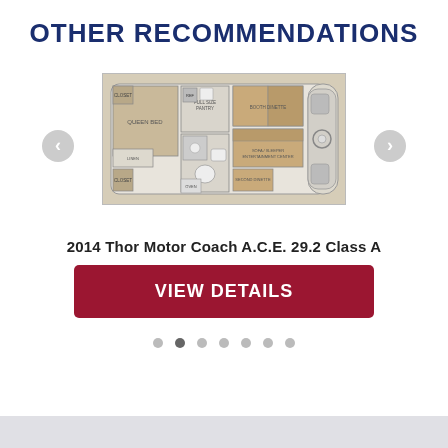OTHER RECOMMENDATIONS
[Figure (schematic): Floor plan of a 2014 Thor Motor Coach A.C.E. 29.2 Class A RV, showing bedroom, closets, bathroom, slide-out, kitchen, and dinette layout]
2014 Thor Motor Coach A.C.E. 29.2 Class A
VIEW DETAILS